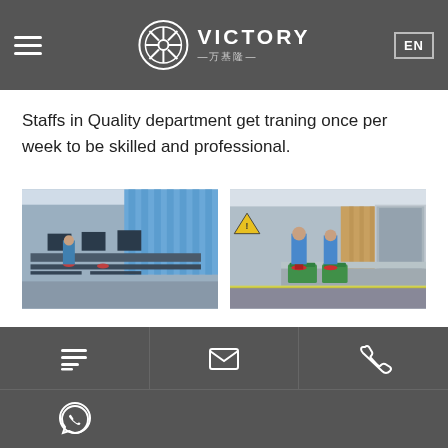VICTORY 万基隆 EN
Staffs in Quality department get traning once per week to be skilled and professional.
[Figure (photo): Factory quality department with workers seated at desks with computer monitors and equipment, bright blue light from windows]
[Figure (photo): Factory assembly area with workers in blue uniforms working at stainless steel workbenches with green plastic bins and enclosed work stations]
Main activities
Contact icons: list/text, email, phone, WhatsApp